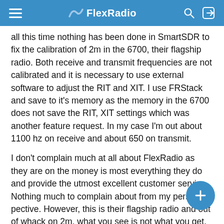FlexRadio
all this time nothing has been done in SmartSDR to fix the calibration of 2m in the 6700, their flagship radio. Both receive and transmit frequencies are not calibrated and it is necessary to use external software to adjust the RIT and XIT. I use FRStack and save to it's memory as the memory in the 6700 does not save the RIT, XIT settings which was another feature request. In my case I'm out about 1100 hz on receive and about 650 on transmit.
I don't complain much at all about FlexRadio as they are on the money is most everything they do and provide the utmost excellent customer service. Nothing much to complain about from my perspective. However, this is their flagship radio and out of whack on 2m, what you see is not what you get. There was talk some time ago about some software calibration